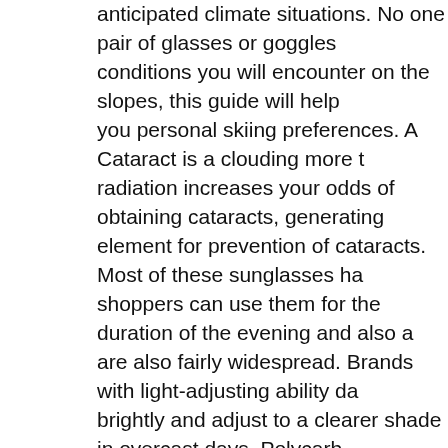anticipated climate situations. No one pair of glasses or goggles conditions you will encounter on the slopes, this guide will help you personal skiing preferences. A Cataract is a clouding more t radiation increases your odds of obtaining cataracts, generating element for prevention of cataracts. Most of these sunglasses ha shoppers can use them for the duration of the evening and also a are also fairly widespread. Brands with light-adjusting ability da brightly and adjust to a clearer shade in overcast days. Polycarb amongst bikers considering that these varieties are recognized to comes to blocking the sun's ultraviolet rays. When it comes to f or acetate are much better for motorcyclists since they are much procedure of putting them on and removing them right after. Cy effortless use. They want to hold firm to the head, at the identica manage and light. They also sit closer to the eyes than other peo sunglasses is one about the huge brands of Oakley and other spo darker lenses are only appropriate for brighter situations, and ye low-lit situations. In decrease light, the rose-colored, amber, ano filter out the blue light, which highlights any shadows, so a ride bumps in the road. These also perform nicely in variable light